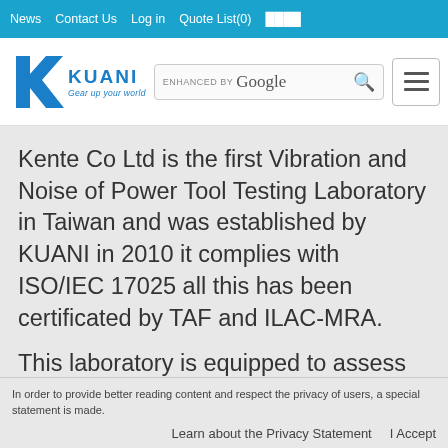News  Contact Us  Log in  Quote List(0)  ████
[Figure (logo): KUANI logo with blue K graphic and tagline 'Gear up your world', alongside Google enhanced search bar and hamburger menu button]
Kente Co Ltd is the first Vibration and Noise of Power Tool Testing Laboratory in Taiwan and was established by KUANI in 2010 it complies with ISO/IEC 17025 all this has been certificated by TAF and ILAC-MRA.
This laboratory is equipped to assess the
In order to provide better reading content and respect the privacy of users, a special statement is made.
Learn about the Privacy Statement  I Accept